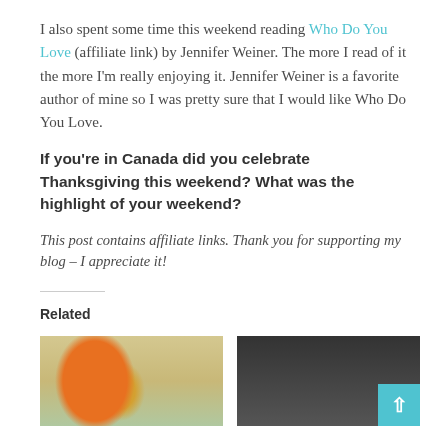I also spent some time this weekend reading Who Do You Love (affiliate link) by Jennifer Weiner. The more I read of it the more I'm really enjoying it. Jennifer Weiner is a favorite author of mine so I was pretty sure that I would like Who Do You Love.
If you're in Canada did you celebrate Thanksgiving this weekend? What was the highlight of your weekend?
This post contains affiliate links. Thank you for supporting my blog – I appreciate it!
Related
[Figure (photo): Photo of an orange starfish or flower decoration on a light background]
[Figure (photo): Photo of plastic bags or packaging on a dark background]